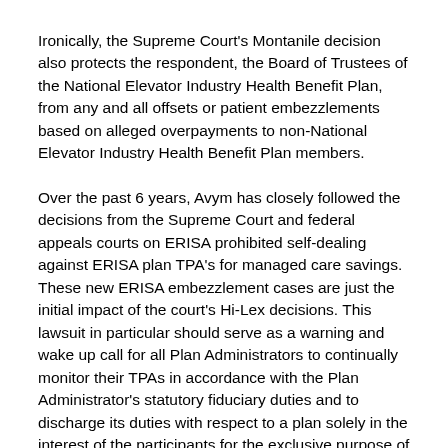Ironically, the Supreme Court's Montanile decision also protects the respondent, the Board of Trustees of the National Elevator Industry Health Benefit Plan, from any and all offsets or patient embezzlements based on alleged overpayments to non-National Elevator Industry Health Benefit Plan members.
Over the past 6 years, Avym has closely followed the decisions from the Supreme Court and federal appeals courts on ERISA prohibited self-dealing against ERISA plan TPA's for managed care savings. These new ERISA embezzlement cases are just the initial impact of the court's Hi-Lex decisions. This lawsuit in particular should serve as a warning and wake up call for all Plan Administrators to continually monitor their TPAs in accordance with the Plan Administrator's statutory fiduciary duties and to discharge its duties with respect to a plan solely in the interest of the participants for the exclusive purpose of providing benefits to them.
Avym Corp. has been at the forefront and advocated